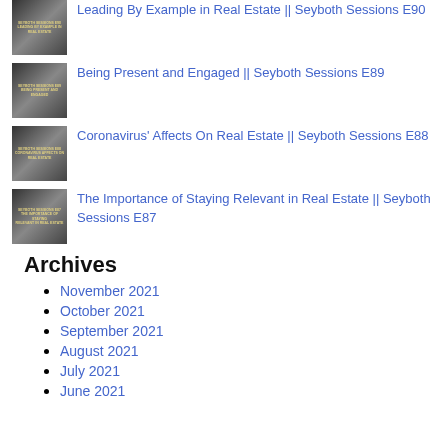[Figure (photo): Thumbnail image for Seyboth Sessions E90 - black and white photo with text overlay]
Leading By Example in Real Estate || Seyboth Sessions E90
[Figure (photo): Thumbnail image for Seyboth Sessions E89 - black and white photo with text overlay]
Being Present and Engaged || Seyboth Sessions E89
[Figure (photo): Thumbnail image for Seyboth Sessions E88 - black and white photo with text overlay]
Coronavirus' Affects On Real Estate || Seyboth Sessions E88
[Figure (photo): Thumbnail image for Seyboth Sessions E87 - black and white photo with text overlay]
The Importance of Staying Relevant in Real Estate || Seyboth Sessions E87
Archives
November 2021
October 2021
September 2021
August 2021
July 2021
June 2021